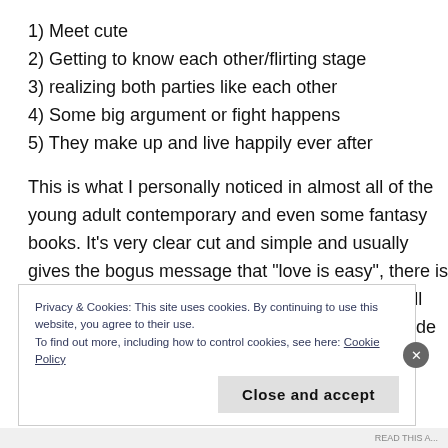1) Meet cute
2) Getting to know each other/flirting stage
3) realizing both parties like each other
4) Some big argument or fight happens
5) They make up and live happily ever after
This is what I personally noticed in almost all of the young adult contemporary and even some fantasy books. It’s very clear cut and simple and usually gives the bogus message that “love is easy”, there is barely any conflict at all. Books, movies, music all talk about how “someone saved them”, and include swoon-worthy and passionate scenes which in the real
Privacy & Cookies: This site uses cookies. By continuing to use this website, you agree to their use.
To find out more, including how to control cookies, see here: Cookie Policy
Close and accept